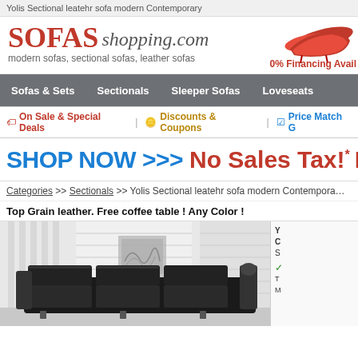Yolis Sectional leatehr sofa modern Contemporary
[Figure (logo): SofasShopping.com logo with red sofa image and 0% Financing Available text]
Sofas & Sets | Sectionals | Sleeper Sofas | Loveseats
On Sale & Special Deals | Discounts & Coupons | Price Match G...
SHOP NOW >>> No Sales Tax!* Free...
Categories >> Sectionals >> Yolis Sectional leatehr sofa modern Contempora...
Top Grain leather. Free coffee table ! Any Color !
[Figure (photo): Black leather sectional sofa in a modern living room with white walls and abstract wall art]